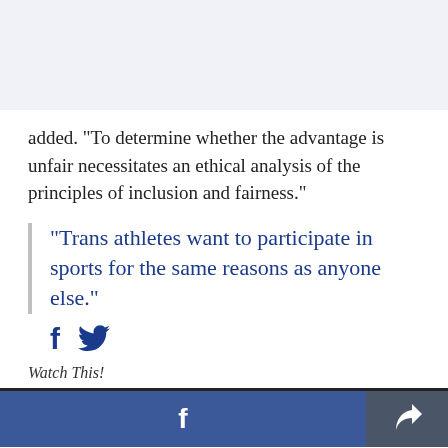[Figure (photo): Top area showing partial image with light blue-grey background]
added. "To determine whether the advantage is unfair necessitates an ethical analysis of the principles of inclusion and fairness."
"Trans athletes want to participate in sports for the same reasons as anyone else."
[Figure (other): Social share icons: Facebook f and Twitter bird in dark blue]
Watch This!
[Figure (other): Bottom bar with Facebook share button (blue) and share/forward button (dark grey)]